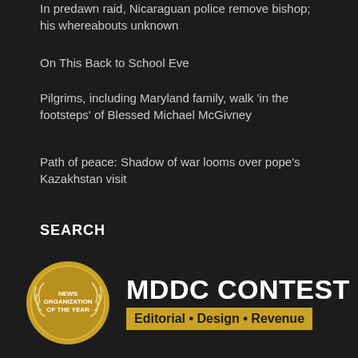In predawn raid, Nicaraguan police remove bishop; his whereabouts unknown
On This Back to School Eve
Pilgrims, including Maryland family, walk 'in the footsteps' of Blessed Michael McGivney
Path of peace: Shadow of war looms over pope's Kazakhstan visit
SEARCH
Search the site ...
[Figure (logo): MDDC Contest award logo with gold medal badge labeled NEWS ORGANIZATION OF THE YEAR with laurel wreath, and text MDDC CONTEST Editorial • Design • Revenue]